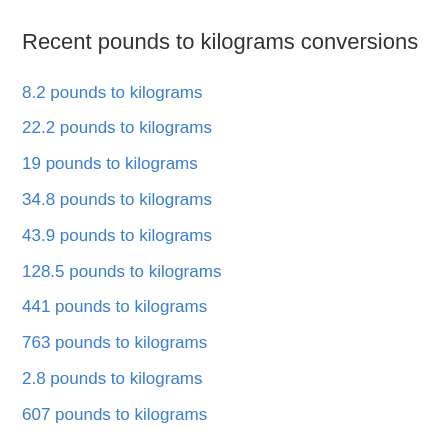Recent pounds to kilograms conversions
8.2 pounds to kilograms
22.2 pounds to kilograms
19 pounds to kilograms
34.8 pounds to kilograms
43.9 pounds to kilograms
128.5 pounds to kilograms
441 pounds to kilograms
763 pounds to kilograms
2.8 pounds to kilograms
607 pounds to kilograms